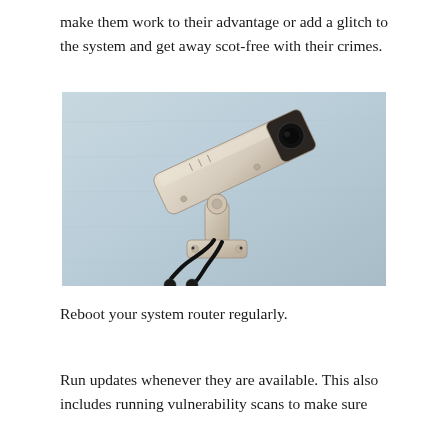make them work to their advantage or add a glitch to the system and get away scot-free with their crimes.
[Figure (photo): A white CCTV security camera mounted on a light blue wall, viewed from below at an angle. Two black cables hang from the camera mount.]
Reboot your system router regularly.
Run updates whenever they are available. This also includes running vulnerability scans to make sure...